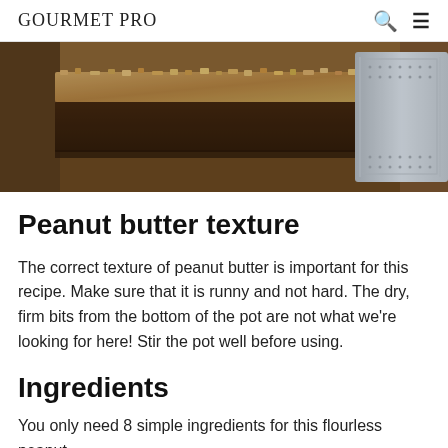GOURMET PRO
[Figure (photo): Close-up photo of peanut butter bars or slice on a metallic tray, showing crumbly, textured surface in brown tones]
Peanut butter texture
The correct texture of peanut butter is important for this recipe. Make sure that it is runny and not hard. The dry, firm bits from the bottom of the pot are not what we're looking for here! Stir the pot well before using.
Ingredients
You only need 8 simple ingredients for this flourless peanut